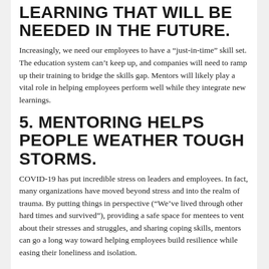LEARNING THAT WILL BE NEEDED IN THE FUTURE.
Increasingly, we need our employees to have a “just-in-time” skill set. The education system can’t keep up, and companies will need to ramp up their training to bridge the skills gap. Mentors will likely play a vital role in helping employees perform well while they integrate new learnings.
5. MENTORING HELPS PEOPLE WEATHER TOUGH STORMS.
COVID-19 has put incredible stress on leaders and employees. In fact, many organizations have moved beyond stress and into the realm of trauma. By putting things in perspective (“We’ve lived through other hard times and survived”), providing a safe space for mentees to vent about their stresses and struggles, and sharing coping skills, mentors can go a long way toward helping employees build resilience while easing their loneliness and isolation.